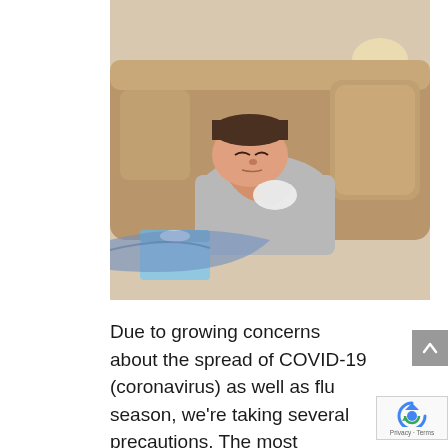[Figure (photo): A man lying sick on a couch, holding a tissue to his head, with a tissue box nearby. He appears to have flu or cold symptoms.]
Due to growing concerns about the spread of COVID-19 (coronavirus) as well as flu season, we're taking several precautions. The most important is to encourage anyone feeling symptoms of illness or diagnoses sick to stay home from Mass and/or school for the